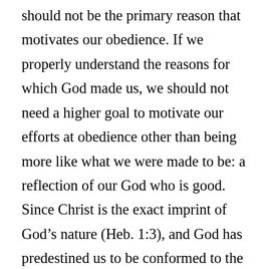should not be the primary reason that motivates our obedience. If we properly understand the reasons for which God made us, we should not need a higher goal to motivate our efforts at obedience other than being more like what we were made to be: a reflection of our God who is good. Since Christ is the exact imprint of God's nature (Heb. 1:3), and God has predestined us to be conformed to the image of his Son, our highest goal simply is to be more like Christ our Savior.